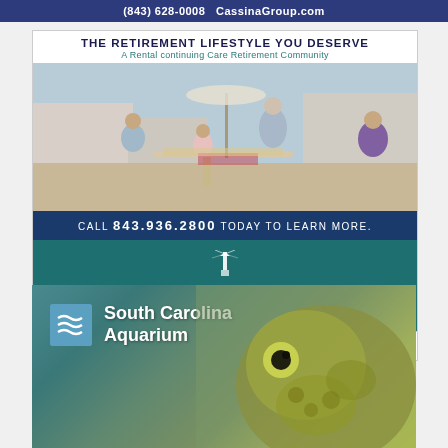(843) 628-0008   CassinaGroup.com
[Figure (photo): South Bay at Mount Pleasant retirement community advertisement. Header: THE RETIREMENT LIFESTYLE YOU DESERVE / A Rental continuing Care Retirement Community. Photo of elderly couple with grandchildren dining outdoors. Call banner: CALL 843.936.2800 TODAY TO LEARN MORE. Teal logo section with South Bay at Mount Pleasant lighthouse logo. Footer: THE FUTURE IS BRIGHT. MAKE YOURS BRIGHTER AT SOUTH BAY.]
[Figure (photo): South Carolina Aquarium advertisement with logo (blue square with wave lines) and close-up photo of a sea turtle.]